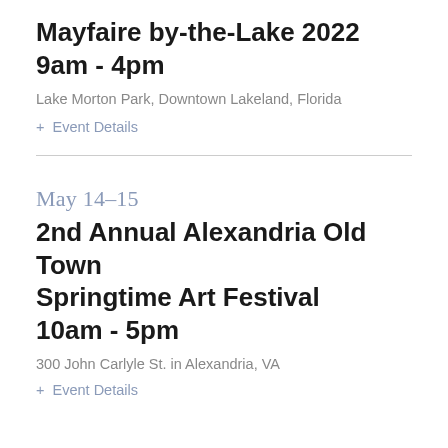Mayfaire by-the-Lake 2022
9am - 4pm
Lake Morton Park, Downtown Lakeland, Florida
+ Event Details
May 14–15
2nd Annual Alexandria Old Town Springtime Art Festival
10am - 5pm
300 John Carlyle St. in Alexandria, VA
+ Event Details